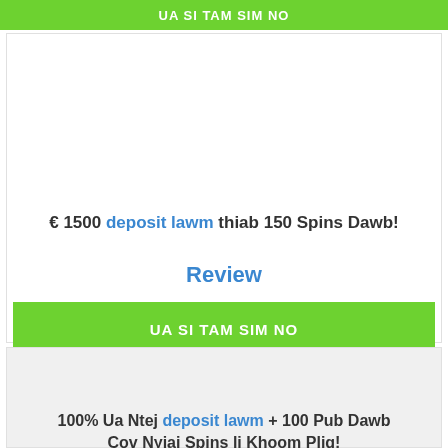UA SI TAM SIM NO
[Figure (other): Casino logo or promotional image placeholder (white background)]
€ 1500 deposit lawm thiab 150 Spins Dawb!
Review
UA SI TAM SIM NO
[Figure (other): Casino logo or promotional image placeholder (light gray background)]
100% Ua Ntej deposit lawm + 100 Pub Dawb Cov Nyiaj Spins li Khoom Plig!